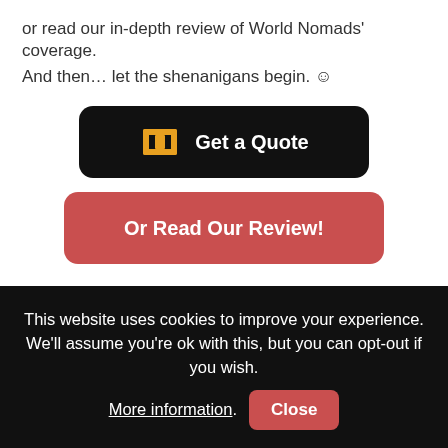or read our in-depth review of World Nomads' coverage.
And then… let the shenanigans begin. ☺
[Figure (other): Black rounded button with World Nomads icon and text 'Get a Quote']
[Figure (other): Red rounded button with text 'Or Read Our Review!']
Final Thoughts on Santa Barbara VRBOs
This website uses cookies to improve your experience. We'll assume you're ok with this, but you can opt-out if you wish. More information. Close